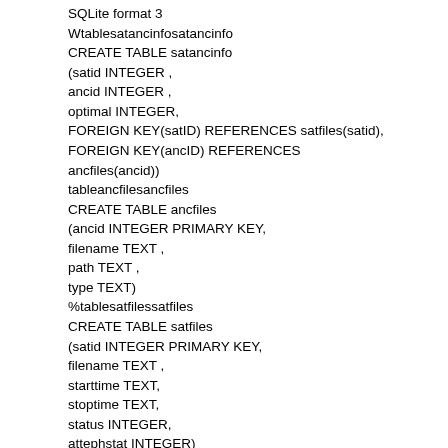SQLite format 3
Wtablesatancinfosatancinfo
CREATE TABLE satancinfo
(satid INTEGER ,
ancid INTEGER ,
optimal INTEGER,
FOREIGN KEY(satID) REFERENCES satfiles(satid),
FOREIGN KEY(ancID) REFERENCES
ancfiles(ancid))
tableancfilesancfiles
CREATE TABLE ancfiles
(ancid INTEGER PRIMARY KEY,
filename TEXT ,
path TEXT ,
type TEXT)
%tablesatfilessatfiles
CREATE TABLE satfiles
(satid INTEGER PRIMARY KEY,
filename TEXT ,
starttime TEXT,
stoptime TEXT,
status INTEGER,
attephstat INTEGER)